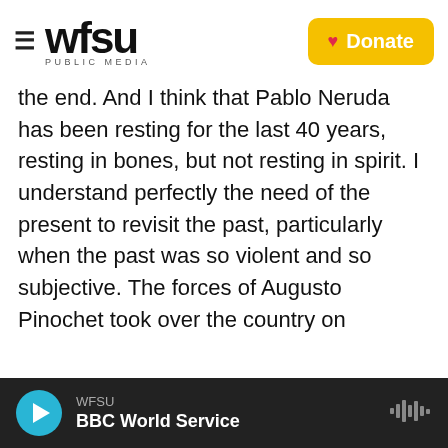WFSU PUBLIC MEDIA | Donate
the end. And I think that Pablo Neruda has been resting for the last 40 years, resting in bones, but not resting in spirit. I understand perfectly the need of the present to revisit the past, particularly when the past was so violent and so subjective. The forces of Augusto Pinochet took over the country on September 11, 1973. And in doing so, they also took over Chilean history and decided how to remember it. The effort now is to dig out the bones and try to see if there is another version of Chilean history.
But it strikes me that that other version has already
WFSU | BBC World Service